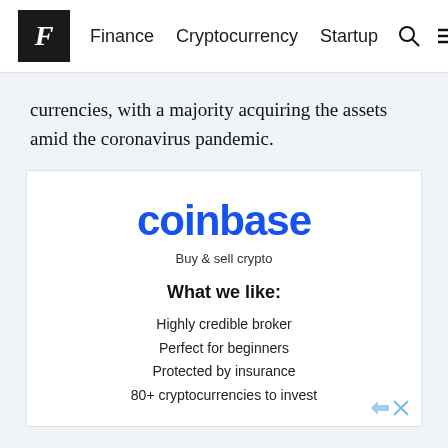F  Finance  Cryptocurrency  Startup
currencies, with a majority acquiring the assets amid the coronavirus pandemic.
[Figure (advertisement): Coinbase advertisement. Logo: 'coinbase' in blue. Tagline: 'Buy & sell crypto'. Section 'What we like:' with bullet points: Highly credible broker, Perfect for beginners, Protected by insurance, 80+ cryptocurrencies to invest.]